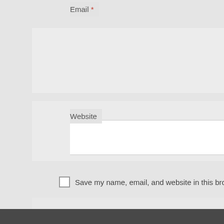Email *
Website
Save my name, email, and website in this browser for the next time I c
Current ye@r *
5.4
This site uses Akismet to reduce spam. Learn how your comment d